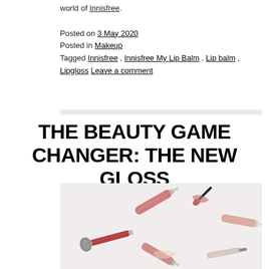world of Innisfree.
Posted on 3 May 2020
Posted in Makeup
Tagged Innisfree, Innisfree My Lip Balm, Lip balm, Lipgloss Leave a comment
THE BEAUTY GAME CHANGER: THE NEW GLOSS
[Figure (photo): Flatlay photo of multiple lip gloss products on a light background, including pink/red glosses, applicator wands, and lip swatches]